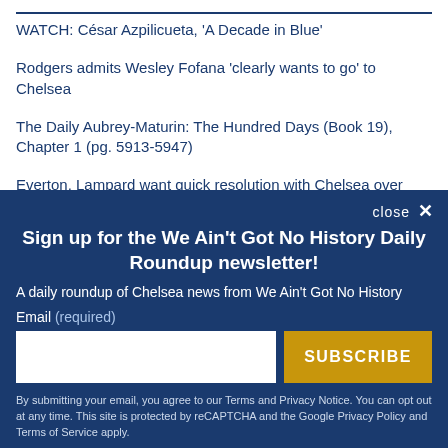WATCH: César Azpilicueta, 'A Decade in Blue'
Rodgers admits Wesley Fofana 'clearly wants to go' to Chelsea
The Daily Aubrey-Maturin: The Hundred Days (Book 19), Chapter 1 (pg. 5913-5947)
Everton, Lampard want quick resolution with Chelsea over Anthony Gordon
Sign up for the We Ain't Got No History Daily Roundup newsletter!
A daily roundup of Chelsea news from We Ain't Got No History
Email (required)
SUBSCRIBE
By submitting your email, you agree to our Terms and Privacy Notice. You can opt out at any time. This site is protected by reCAPTCHA and the Google Privacy Policy and Terms of Service apply.